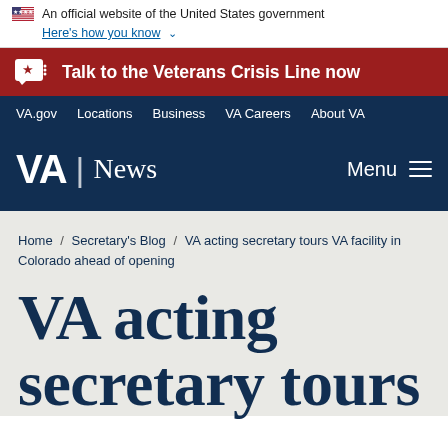An official website of the United States government Here's how you know
Talk to the Veterans Crisis Line now
VA.gov  Locations  Business  VA Careers  About VA
VA | News  Menu
Home / Secretary's Blog / VA acting secretary tours VA facility in Colorado ahead of opening
VA acting secretary tours